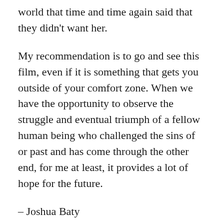world that time and time again said that they didn't want her.
My recommendation is to go and see this film, even if it is something that gets you outside of your comfort zone. When we have the opportunity to observe the struggle and eventual triumph of a fellow human being who challenged the sins of or past and has come through the other end, for me at least, it provides a lot of hope for the future.
– Joshua Baty
Comments